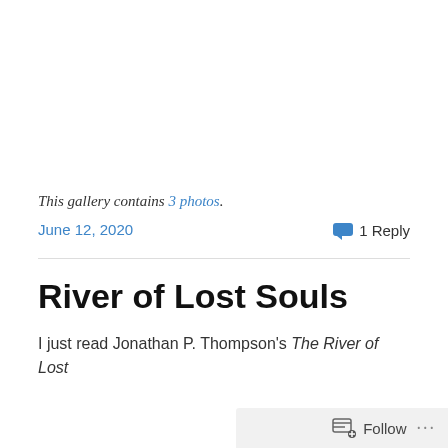This gallery contains 3 photos.
June 12, 2020
1 Reply
River of Lost Souls
I just read Jonathan P. Thompson's The River of Lost